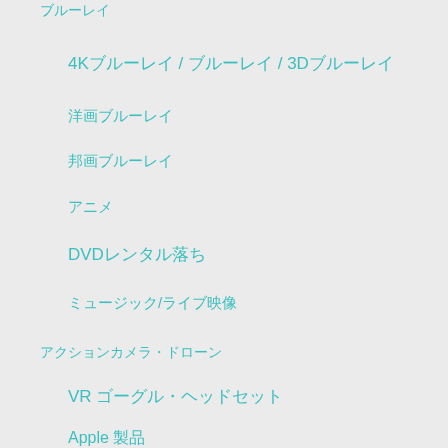ブルーレイ
4Kブルーレイ / ブルーレイ / 3Dブルーレイ
洋画ブルーレイ
邦画ブルーレイ
アニメ
DVDレンタル落ち
ミュージック/ライブ映像
アクションカメラ・ドローン
VR ゴーグル・ヘッドセット
Apple 製品
スマートフォン / タブレット
スマホ/PC モバイルバッテリー・充電ケーブルほか
スマホケース